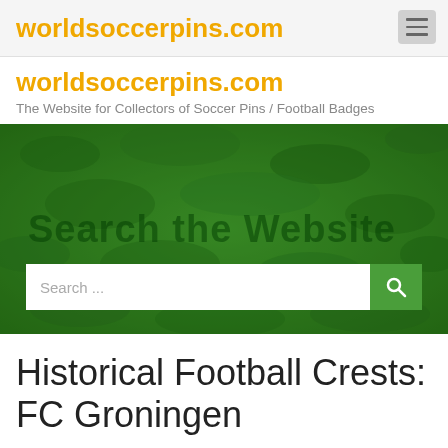worldsoccerpins.com — The Website for Collectors of Soccer Pins / Football Badges
[Figure (screenshot): Green grass texture background with 'Search the Website' text overlay and a search input bar with green search button]
Historical Football Crests: FC Groningen